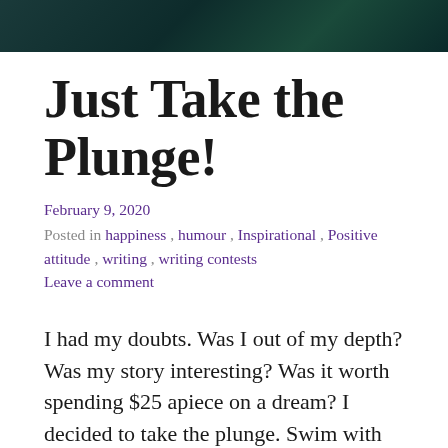[Figure (photo): Dark teal/green background image, header banner]
Just Take the Plunge!
February 9, 2020
Posted in happiness, humour, Inspirational, Positive attitude, writing, writing contests
Leave a comment
I had my doubts. Was I out of my depth? Was my story interesting? Was it worth spending $25 apiece on a dream? I decided to take the plunge. Swim with the big fish and enter the